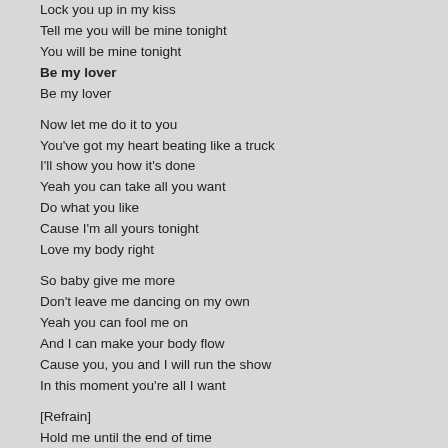Lock you up in my kiss
Tell me you will be mine tonight
You will be mine tonight
Be my lover
Be my lover

Now let me do it to you
You've got my heart beating like a truck
I'll show you how it's done
Yeah you can take all you want
Do what you like
Cause I'm all yours tonight
Love my body right

So baby give me more
Don't leave me dancing on my own
Yeah you can fool me on
And I can make your body flow
Cause you, you and I will run the show
In this moment you're all I want

[Refrain]
Hold me until the end of time
Cause we are written in the sky
Get close to my lips
Lock you up in my kiss
Tell me you will be mine tonight
Be my lover